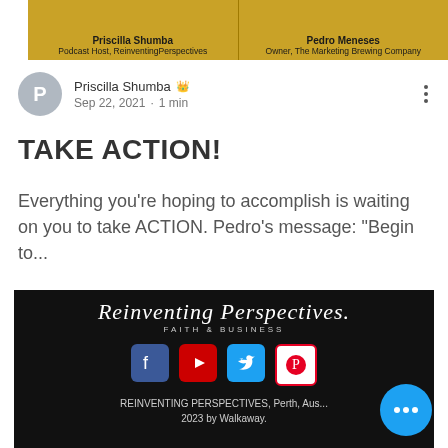[Figure (photo): Banner with two speakers: Priscilla Shumba (Podcast Host, ReinventingPerspectives) and Pedro Meneses (Owner, The Marketing Brewing Company) on a gold/yellow background]
Priscilla Shumba 👑
Sep 22, 2021 · 1 min
TAKE ACTION!
Everything you're hoping to accomplish is waiting on you to take ACTION. Pedro's message: "Begin to...
[Figure (logo): Dark banner with Reinventing Perspectives logo in cursive script with social media icons (Facebook, YouTube, Twitter, Pinterest) and footer text: REINVENTING PERSPECTIVES, Perth, Aus... 2023 by Walkaway.]